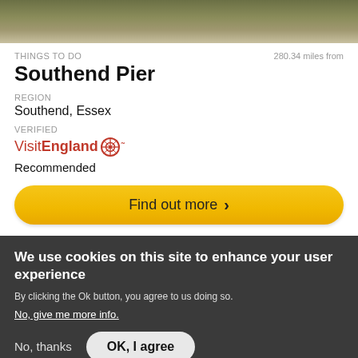[Figure (photo): Blurred outdoor/waterfront background image at top of card]
THINGS TO DO
280.34 miles from
Southend Pier
REGION
Southend, Essex
VERIFIED
VisitEngland (logo) Recommended
Find out more >
We use cookies on this site to enhance your user experience
By clicking the Ok button, you agree to us doing so.
No, give me more info.
No, thanks
OK, I agree